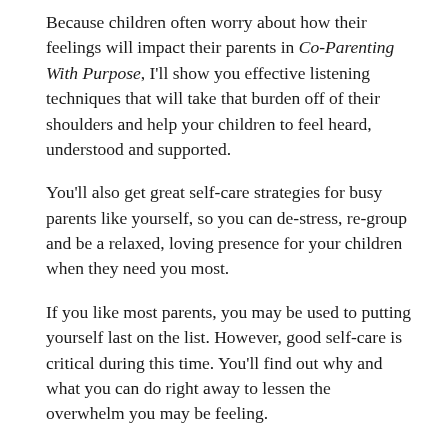Because children often worry about how their feelings will impact their parents in Co-Parenting With Purpose, I'll show you effective listening techniques that will take that burden off of their shoulders and help your children to feel heard, understood and supported.
You'll also get great self-care strategies for busy parents like yourself, so you can de-stress, re-group and be a relaxed, loving presence for your children when they need you most.
If you like most parents, you may be used to putting yourself last on the list. However, good self-care is critical during this time. You'll find out why and what you can do right away to lessen the overwhelm you may be feeling.